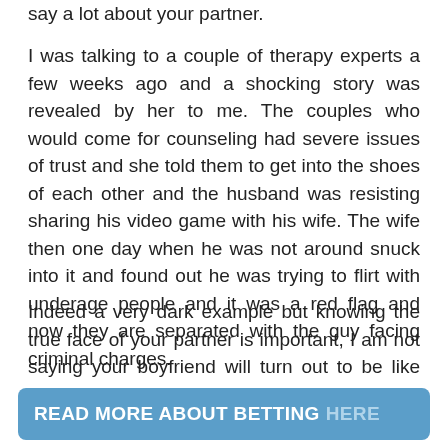say a lot about your partner.
I was talking to a couple of therapy experts a few weeks ago and a shocking story was revealed by her to me. The couples who would come for counseling had severe issues of trust and she told them to get into the shoes of each other and the husband was resisting sharing his video game with his wife. The wife then one day when he was not around snuck into it and found out he was trying to flirt with underage people and it was a red flag and now they are separated with the guy facing criminal charges.
Indeed a very dark example but knowing the true face of your partner is important, I am not saying your boyfriend will turn out to be like this after making bets with him.
READ MORE ABOUT BETTING HERE